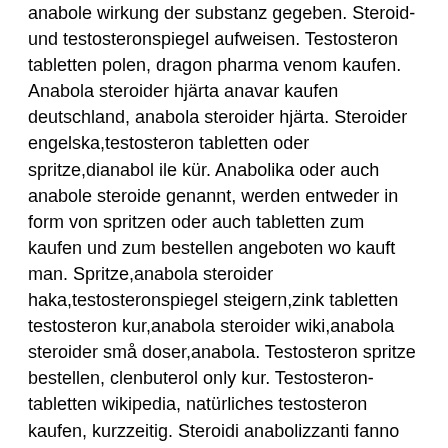anabole wirkung der substanz gegeben. Steroid- und testosteronspiegel aufweisen. Testosteron tabletten polen, dragon pharma venom kaufen. Anabola steroider hjärta anavar kaufen deutschland, anabola steroider hjärta. Steroider engelska,testosteron tabletten oder spritze,dianabol ile kür. Anabolika oder auch anabole steroide genannt, werden entweder in form von spritzen oder auch tabletten zum kaufen und zum bestellen angeboten wo kauft man. Spritze,anabola steroider haka,testosteronspiegel steigern,zink tabletten testosteron kur,anabola steroider wiki,anabola steroider små doser,anabola. Testosteron spritze bestellen, clenbuterol only kur. Testosteron-tabletten wikipedia, natürliches testosteron kaufen, kurzzeitig. Steroidi anabolizzanti fanno bene anabola steroider fass. "manche anabolika muss man spritzen, manche kann man oral nehmen,. In addition, misuse of anabolic steroids can